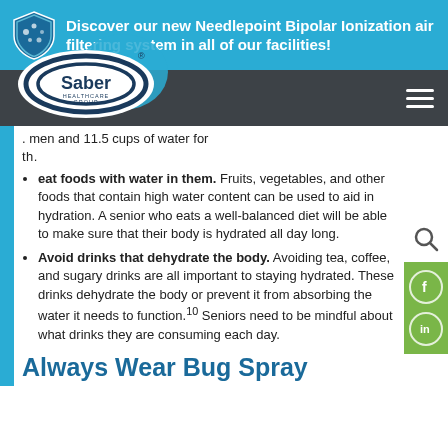Discover our new Needlepoint Bipolar Ionization air filtering system in all of our facilities!
[Figure (logo): Saber Healthcare Group logo with shield icon]
men and 11.5 cups of water for th.
Eat foods with water in them. Fruits, vegetables, and other foods that contain high water content can be used to aid in hydration. A senior who eats a well-balanced diet will be able to make sure that their body is hydrated all day long.
Avoid drinks that dehydrate the body. Avoiding tea, coffee, and sugary drinks are all important to staying hydrated. These drinks dehydrate the body or prevent it from absorbing the water it needs to function.10 Seniors need to be mindful about what drinks they are consuming each day.
Always Wear Bug Spray